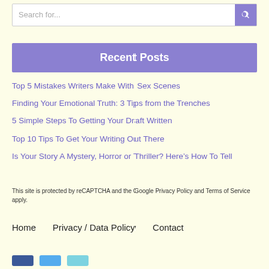Search for...
Recent Posts
Top 5 Mistakes Writers Make With Sex Scenes
Finding Your Emotional Truth: 3 Tips from the Trenches
5 Simple Steps To Getting Your Draft Written
Top 10 Tips To Get Your Writing Out There
Is Your Story A Mystery, Horror or Thriller? Here’s How To Tell
This site is protected by reCAPTCHA and the Google Privacy Policy and Terms of Service apply.
Home   Privacy / Data Policy   Contact